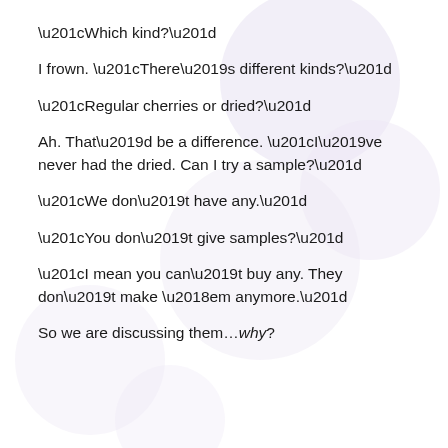“Which kind?”
I frown. “There’s different kinds?”
“Regular cherries or dried?”
Ah. That’d be a difference. “I’ve never had the dried. Can I try a sample?”
“We don’t have any.”
“You don’t give samples?”
“I mean you can’t buy any. They don’t make ‘em anymore.”
So we are discussing them…why?